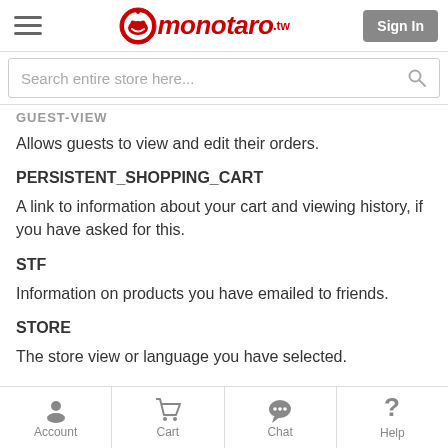monotaro.tw — Sign In
Search entire store here...
GUEST-VIEW
Allows guests to view and edit their orders.
PERSISTENT_SHOPPING_CART
A link to information about your cart and viewing history, if you have asked for this.
STF
Information on products you have emailed to friends.
STORE
The store view or language you have selected.
Account | Cart | Chat | Help